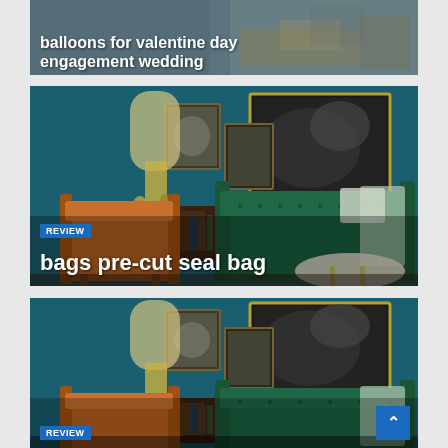[Figure (photo): Article card with bedroom/living room photo background, white bold text overlay reading 'balloons for valentine day engagement wedding']
[Figure (photo): Article card with mid-century modern living room photo (teal sofa, leather chair, dark blue wall, artwork), with blue REVIEW badge and white bold text 'bags pre-cut seal bag']
[Figure (photo): Article card with same mid-century modern living room photo (teal sofa, leather chair, dark blue wall), with blue REVIEW badge visible at bottom, and scroll-to-top button in lower right corner]